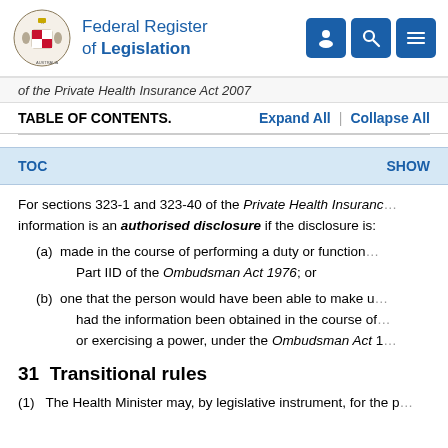Federal Register of Legislation
of the Private Health Insurance Act 2007
TABLE OF CONTENTS.    Expand All  |  Collapse All
TOC    SHOW
For sections 323-1 and 323-40 of the Private Health Insurance Act, information is an authorised disclosure if the disclosure is:
(a)  made in the course of performing a duty or function, Part IID of the Ombudsman Act 1976; or
(b)  one that the person would have been able to make under had the information been obtained in the course of or exercising a power, under the Ombudsman Act 1
31  Transitional rules
(1)   The Health Minister may, by legislative instrument, for the p